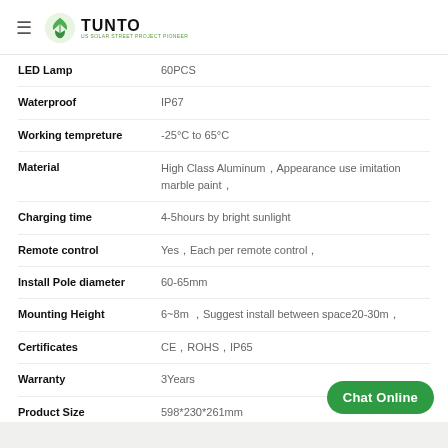TUNTO — US SOLAR STREET PROJECT PIONEER
| Specification | Value |
| --- | --- |
| LED Lamp | 60PCS |
| Waterproof | IP67 |
| Working tempreture | -25°C to 65°C |
| Material | High Class Aluminum，Appearance use imitation marble paint， |
| Charging time | 4-5hours by bright sunlight |
| Remote control | Yes，Each per remote control， |
| Install Pole diameter | 60-65mm |
| Mounting Height | 6~8m ，Suggest install between space20-30m， |
| Certificates | CE，ROHS，IP65 |
| Warranty | 3Years |
| Product Size | 598*230*261mm |